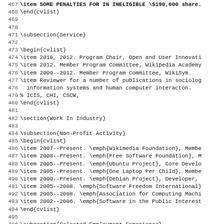LaTeX source code lines 467-499 showing CV document structure with cvlist environments, subsections for Service, Work In Industry, Non-Profit Activity, and Selected Employment Experience sections.